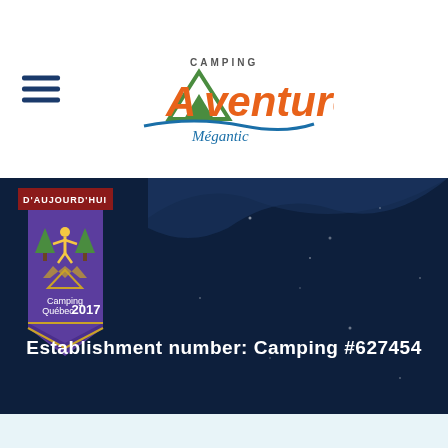[Figure (logo): Camping Aventure Mégantic logo with stylized A, camping text, and cursive Mégantic in orange/green/blue colors]
Establishment number: Camping #627454